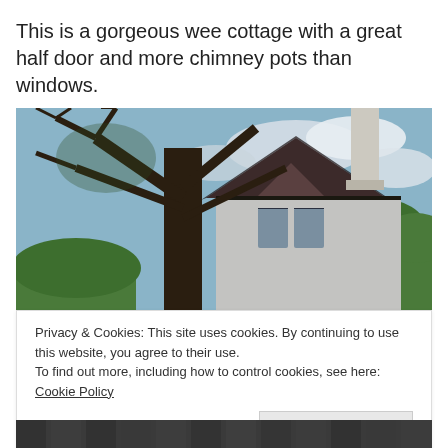This is a gorgeous wee cottage with a great half door and more chimney pots than windows.
[Figure (photo): Photo of a white cottage with a steep gabled roof, dark trim, a tall chimney, and a large bare tree in the foreground against a partly cloudy sky with green bushes visible.]
Privacy & Cookies: This site uses cookies. By continuing to use this website, you agree to their use.
To find out more, including how to control cookies, see here: Cookie Policy
Close and accept